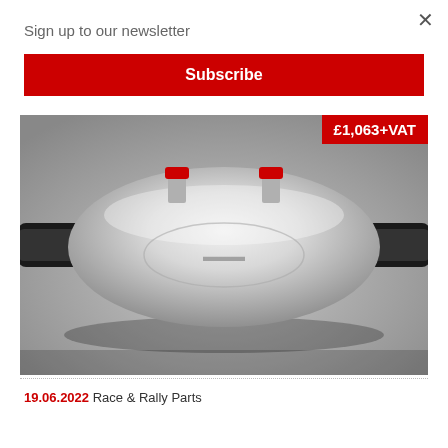×
Sign up to our newsletter
Subscribe
[Figure (photo): Silver metallic catalytic converter / exhaust component with two red-capped fittings on top and black end pipes on both sides. Price badge showing £1,063+VAT in red at top right.]
19.06.2022 Race & Rally Parts